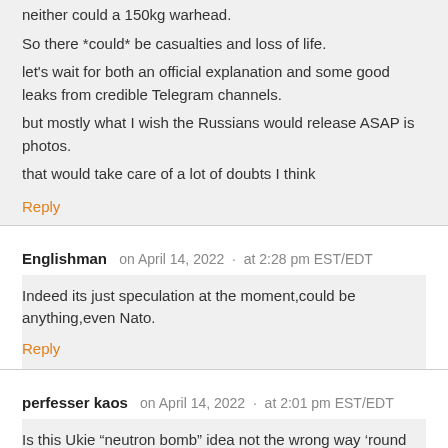neither could a 150kg warhead.
So there *could* be casualties and loss of life.
let's wait for both an official explanation and some good leaks from credible Telegram channels.
but mostly what I wish the Russians would release ASAP is photos.
that would take care of a lot of doubts I think
Reply
Englishman   on April 14, 2022 · at 2:28 pm EST/EDT
Indeed its just speculation at the moment,could be anything,even Nato.
Reply
perfesser kaos   on April 14, 2022 · at 2:01 pm EST/EDT
Is this Ukie “neutron bomb” idea not the wrong way ‘round …..
Neutron bombs kill people without destroying structures and equipment …. ??